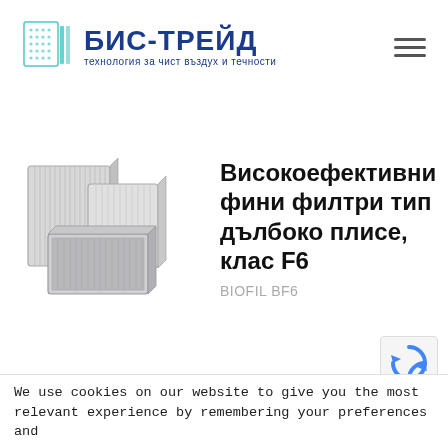[Figure (logo): БИС-ТРЕЙД company logo with teal filter icon and Bulgarian tagline 'технология за чист въздух и течности']
[Figure (photo): Three industrial deep-pleat fine filter units (HEPA-style box filters) in gray, arranged together on a white background]
Високоефективни фини филтри тип дълбоко плисе, клас F6
BIOFIL BF6
We use cookies on our website to give you the most relevant experience by remembering your preferences and